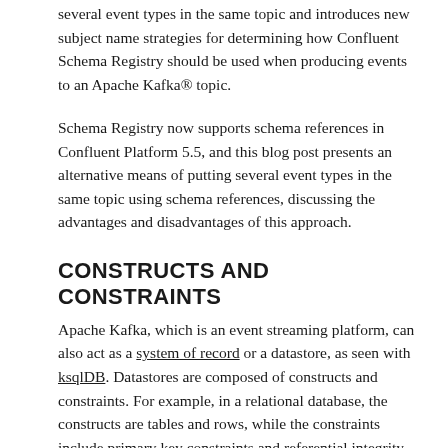several event types in the same topic and introduces new subject name strategies for determining how Confluent Schema Registry should be used when producing events to an Apache Kafka® topic.
Schema Registry now supports schema references in Confluent Platform 5.5, and this blog post presents an alternative means of putting several event types in the same topic using schema references, discussing the advantages and disadvantages of this approach.
CONSTRUCTS AND CONSTRAINTS
Apache Kafka, which is an event streaming platform, can also act as a system of record or a datastore, as seen with ksqlDB. Datastores are composed of constructs and constraints. For example, in a relational database, the constructs are tables and rows, while the constraints include primary key constraints and referential integrity constraints. Kafka does not impose constraints on the structure of data, leaving that role to Confluent Schema Registry. Below are some constructs when using both Kafka and Schema